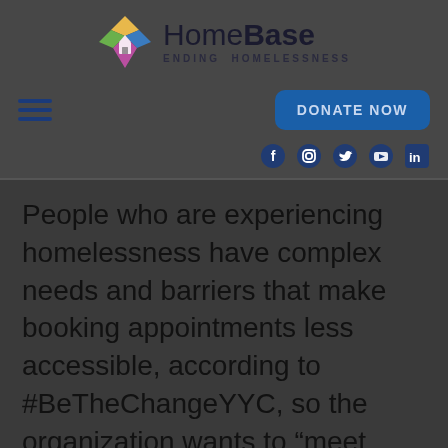[Figure (logo): HomeBase Ending Homelessness logo with colorful diamond/house icon]
HomeBase ENDING HOMELESSNESS
[Figure (other): Navigation bar with hamburger menu and DONATE NOW button]
[Figure (other): Social media icons: Facebook, Instagram, Twitter, YouTube, LinkedIn]
People who are experiencing homelessness have complex needs and barriers that make booking appointments less accessible, according to #BeTheChangeYYC, so the organization wants to “meet people where they are” to slow the spread of COVID-19.